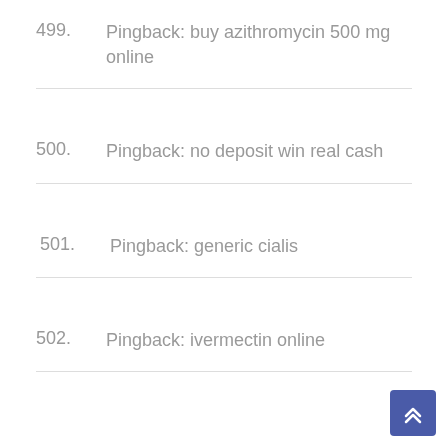499. Pingback: buy azithromycin 500 mg online
500. Pingback: no deposit win real cash
501. Pingback: generic cialis
502. Pingback: ivermectin online